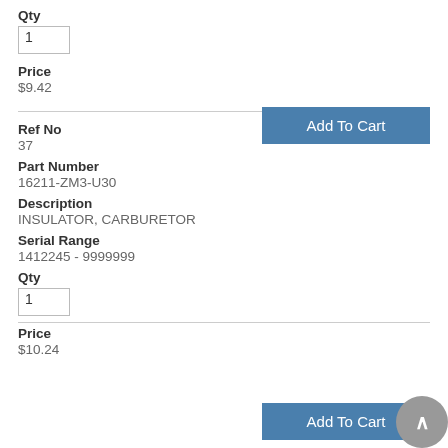Qty
Price
$9.42
Add To Cart
Ref No
37
Part Number
16211-ZM3-U30
Description
INSULATOR, CARBURETOR
Serial Range
1412245 - 9999999
Qty
Price
$10.24
Add To Cart